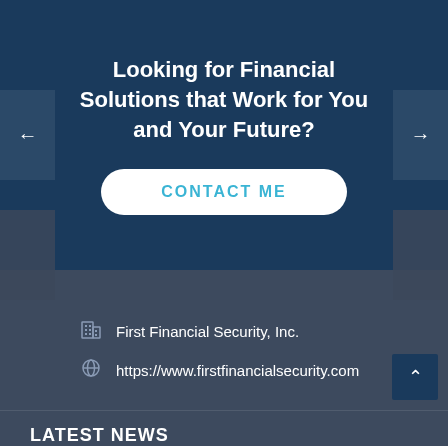Looking for Financial Solutions that Work for You and Your Future?
CONTACT ME
First Financial Security, Inc.
https://www.firstfinancialsecurity.com
LATEST NEWS